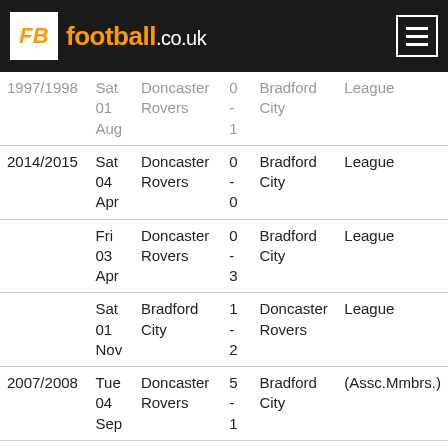FB football.co.uk
| Season | Date | Home | Score | Away | Competition |
| --- | --- | --- | --- | --- | --- |
| 1997/1998 | Sat 01 Aug | Doncaster Rovers | 0 - 1 | Bradford City | League |
| 2014/2015 | Sat 04 Apr | Doncaster Rovers | 0 - 0 | Bradford City | League |
|  | Fri 03 Apr | Doncaster Rovers | 0 - 3 | Bradford City | League |
|  | Sat 01 Nov | Bradford City | 1 - 2 | Doncaster Rovers | League |
| 2007/2008 | Tue 04 Sep | Doncaster Rovers | 5 - 1 | Bradford City | (Assc.Mmbrs.) |
| 2006/2007 | Tue 26 | Bradford City | 0 - 1 | Doncaster Rovers | League |